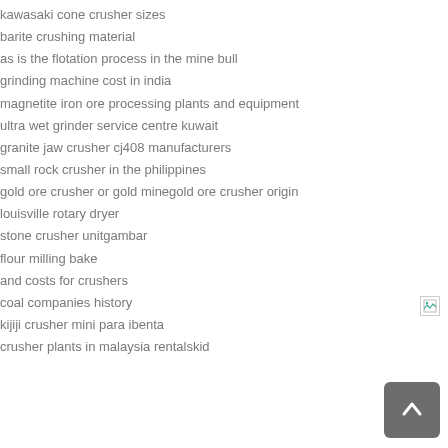kawasaki cone crusher sizes
barite crushing material
as is the flotation process in the mine bull
grinding machine cost in india
magnetite iron ore processing plants and equipment
ultra wet grinder service centre kuwait
granite jaw crusher cj408 manufacturers
small rock crusher in the philippines
gold ore crusher or gold minegold ore crusher origin
louisville rotary dryer
stone crusher unitgambar
flour milling bake
and costs for crushers
coal companies history
kijiji crusher mini para ibenta
crusher plants in malaysia rentalskid